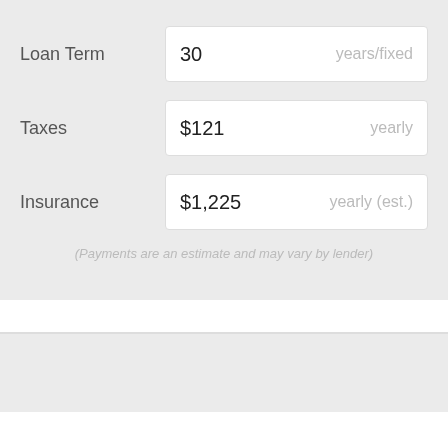Loan Term
30  years/fixed
Taxes
$121  yearly
Insurance
$1,225  yearly (est.)
(Payments are an estimate and may vary by lender)